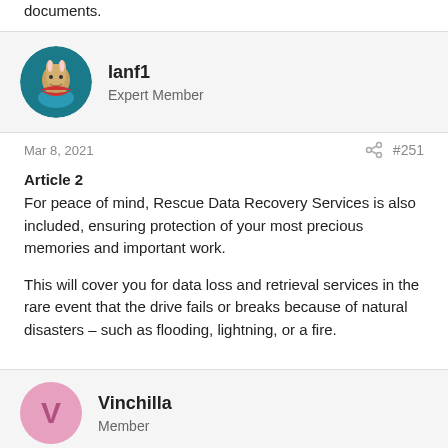documents.
Ianf1
Expert Member
Mar 8, 2021    #251
Article 2
For peace of mind, Rescue Data Recovery Services is also included, ensuring protection of your most precious memories and important work.
This will cover you for data loss and retrieval services in the rare event that the drive fails or breaks because of natural disasters – such as flooding, lightning, or a fire.
Vinchilla
Member